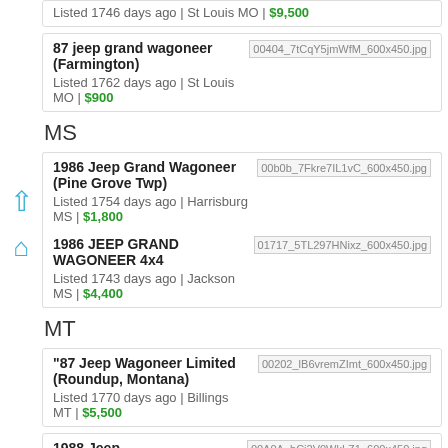Listed 1746 days ago | St Louis MO | $9,500
87 jeep grand wagoneer (Farmington)
Listed 1762 days ago | St Louis MO | $900
MS
1986 Jeep Grand Wagoneer (Pine Grove Twp)
Listed 1754 days ago | Harrisburg MS | $1,800
1986 JEEP GRAND WAGONEER 4x4
Listed 1743 days ago | Jackson MS | $4,400
MT
"87 Jeep Wagoneer Limited (Roundup, Montana)
Listed 1770 days ago | Billings MT | $5,500
1988 Jeep...